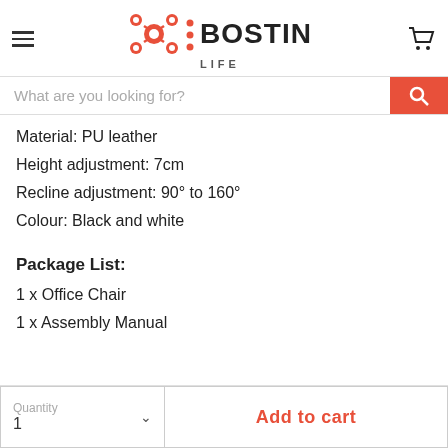[Figure (logo): Bostin Life logo with red molecule icon and shopping cart icon, hamburger menu on left]
[Figure (screenshot): Search bar with placeholder text 'What are you looking for?' and red search button]
Material: PU leather
Height adjustment: 7cm
Recline adjustment: 90° to 160°
Colour: Black and white
Package List:
1 x Office Chair
1 x Assembly Manual
Quantity 1  ∨  Add to cart